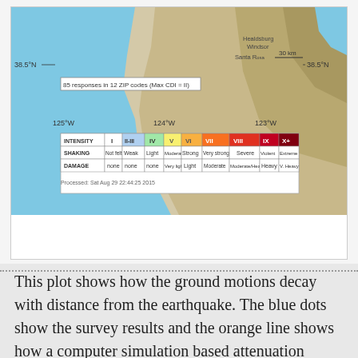[Figure (map): USGS Did You Feel It? shake map showing earthquake intensity near the Northern California coast around 38.5°N, 123–125°W, with 85 responses in 12 ZIP codes. Includes intensity scale showing I through X+ with shaking and damage categories.]
This plot shows how the ground motions decay with distance from the earthquake. The blue dots show the survey results and the orange line shows how a computer simulation based attenuation model suggests that the ground motions would reduce with distance from the earthquake. The orange dots show the median data for each data bin. Note how well the observations fit the attenuation (i.e. Ground Motion Prediction Equation) models.